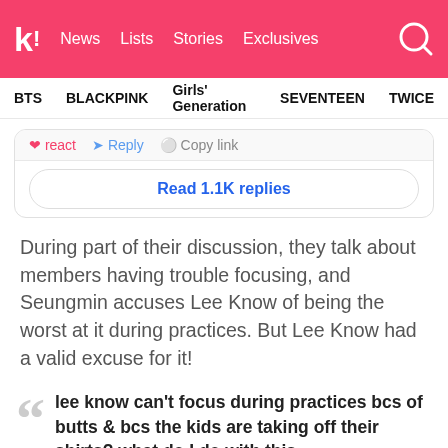k! News  Lists  Stories  Exclusives
BTS  BLACKPINK  Girls' Generation  SEVENTEEN  TWICE
❤ react  ↩ Reply  ○ Copy link
Read 1.1K replies
During part of their discussion, they talk about members having trouble focusing, and Seungmin accuses Lee Know of being the worst at it during practices. But Lee Know had a valid excuse for it!
lee know can't focus during practices bcs of butts & bcs the kids are taking off their shirts? what do I do with this